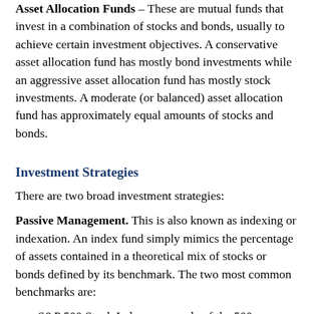Asset Allocation Funds – These are mutual funds that invest in a combination of stocks and bonds, usually to achieve certain investment objectives. A conservative asset allocation fund has mostly bond investments while an aggressive asset allocation fund has mostly stock investments. A moderate (or balanced) asset allocation fund has approximately equal amounts of stocks and bonds.
Investment Strategies
There are two broad investment strategies:
Passive Management. This is also known as indexing or indexation. An index fund simply mimics the percentage of assets contained in a theoretical mix of stocks or bonds defined by its benchmark. The two most common benchmarks are:
S&P 500 Stock Index – a sample of the 500...